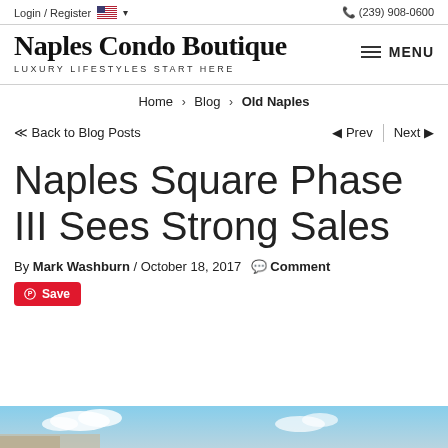Login / Register  🇺🇸 ▾  (239) 908-0600
Naples Condo Boutique
LUXURY LIFESTYLES START HERE
≪ Back to Blog Posts    ◀ Prev  |  Next ▶
Home > Blog > Old Naples
Naples Square Phase III Sees Strong Sales
By Mark Washburn / October 18, 2017 💬 Comment
Save
[Figure (photo): Bottom strip showing blue sky portion of a building photograph]